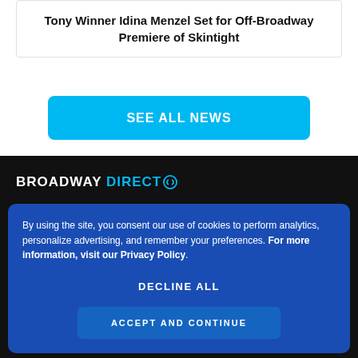Tony Winner Idina Menzel Set for Off-Broadway Premiere of Skintight
SEE ALL NEWS
[Figure (logo): Broadway Direct logo with white text 'BROADWAY' and cyan text 'DIRECT' followed by a circular arrow icon]
By using the site, you consent our use of cookies to perform analytics, personalize advertising, and remember your preferences. For more information, visit our Privacy Policy.
DECLINE ALL
ACCEPT AND CONTINUE